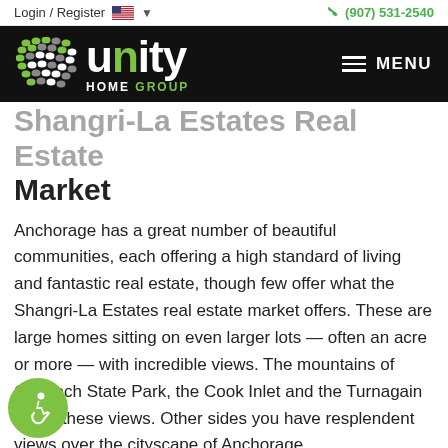Login / Register  (907) 531-2540
[Figure (logo): Unity Home Group logo — dot-grid icon on left, white bold 'unity' text with green 'n', 'HOME GROUP' below in white and green, on black background. MENU hamburger on right.]
Shangri-La Estates Real Estate Market
Anchorage has a great number of beautiful communities, each offering a high standard of living and fantastic real estate, though few offer what the Shangri-La Estates real estate market offers. These are large homes sitting on even larger lots — often an acre or more — with incredible views. The mountains of Chugach State Park, the Cook Inlet and the Turnagain afford these views. Other sides you have resplendent views over the cityscape of Anchorage,